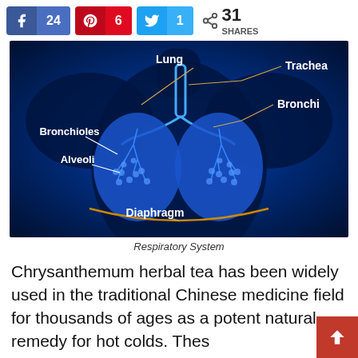[Figure (infographic): Social share bar with Facebook (24), Pinterest (6), Twitter (1) buttons and total 31 SHARES]
[Figure (illustration): Medical illustration of the human respiratory system on a dark blue background, labeled with: Lung, Trachea, Bronchi, Bronchioles, Alveoli, Diaphragm]
Respiratory System
Chrysanthemum herbal tea has been widely used in the traditional Chinese medicine field for thousands of ages as a potent natural remedy for hot colds. Thes